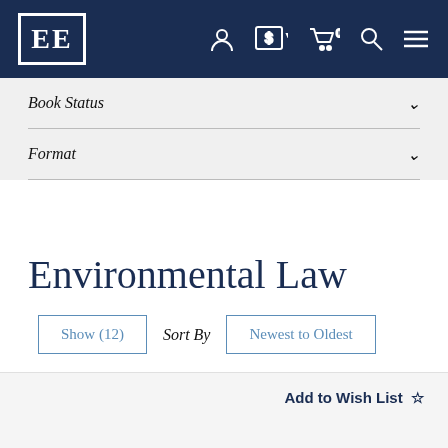EE [logo] navigation bar with account, currency, cart, search, menu icons
Book Status ˅
Format ˅
Environmental Law
Show (12)  Sort By  Newest to Oldest
Add to Wish List ☆